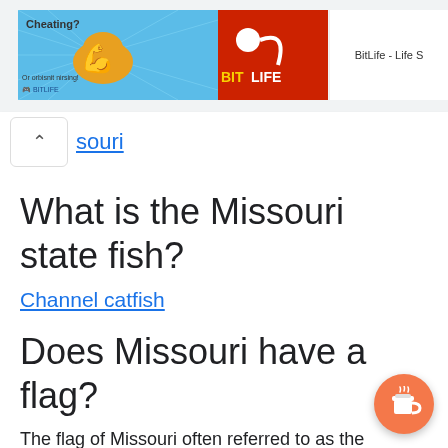[Figure (screenshot): Advertisement banner for BitLife - Life S app, showing animated muscle arm and sperm graphic with blue/orange/red background, with 'Ad' label and 'Cheating?' text]
souri
What is the Missouri state fish?
Channel catfish
Does Missouri have a flag?
The flag of Missouri often referred to as the Missouri flag is the state flag of the U.S.